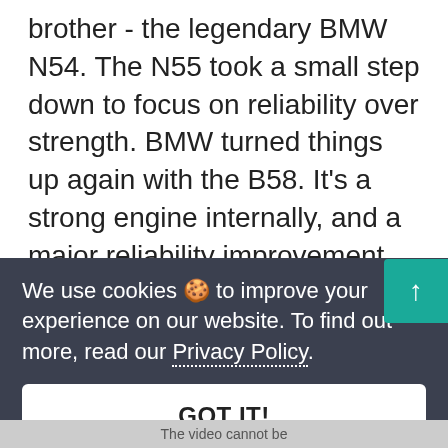brother - the legendary BMW N54. The N55 took a small step down to focus on reliability over strength. BMW turned things up again with the B58. It's a strong engine internally, and a major reliability improvement over the N54. However, no engine is indestructible. In this article, we discuss the upper limits of the B58 block a
We use cookies 🍪 to improve your experience on our website. To find out more, read our Privacy Policy.
GOT IT!
The video cannot be